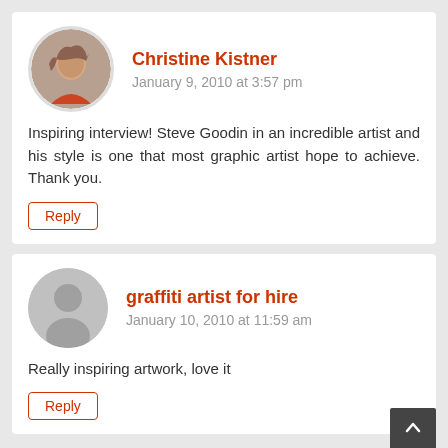Christine Kistner
January 9, 2010 at 3:57 pm
Inspiring interview! Steve Goodin in an incredible artist and his style is one that most graphic artist hope to achieve. Thank you.
Reply
graffiti artist for hire
January 10, 2010 at 11:59 am
Really inspiring artwork, love it
Reply